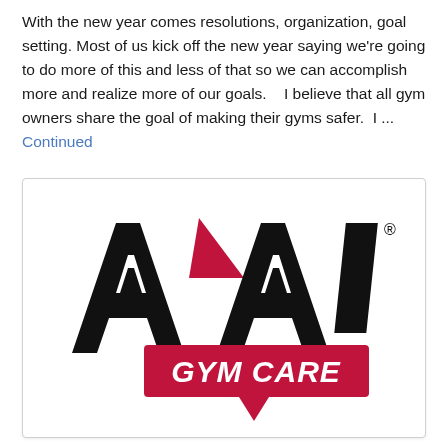With the new year comes resolutions, organization, goal setting. Most of us kick off the new year saying we're going to do more of this and less of that so we can accomplish more and realize more of our goals.   I believe that all gym owners share the goal of making their gyms safer.  I ... Continued
[Figure (logo): AAI Gym Care logo — bold black stylized letters 'AAI' with a red triangle/chevron accent between the two A's, and a red speech-bubble banner below with white bold italic text 'GYM CARE']